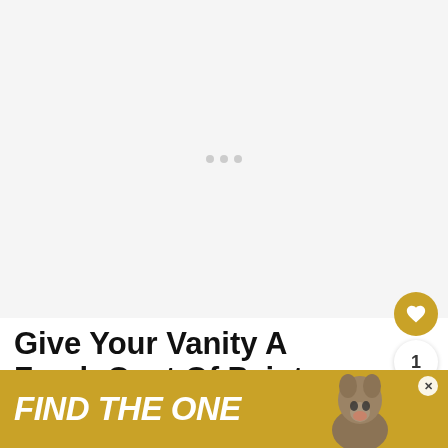[Figure (illustration): Large image placeholder area with loading dots, top portion of article page]
Give Your Vanity A Fresh Coat Of Paint
Another way to update your vanity is to give it a new coat of paint...
[Figure (illustration): What's Next panel with thumbnail image of shower wall and label 'What Color Shower...']
[Figure (illustration): Ad banner: FIND THE ONE with dog image and close button]